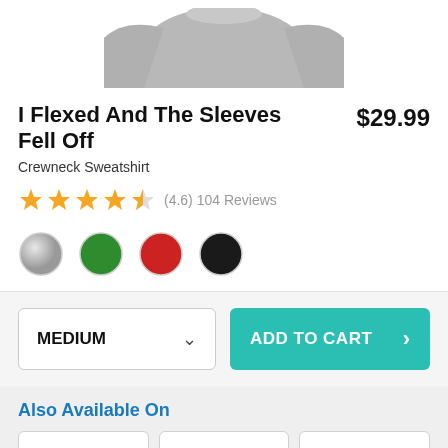[Figure (photo): Partial view of a gray crewneck sweatshirt, showing the top collar and shoulder area against a white background.]
I Flexed And The Sleeves Fell Off
$29.99
Crewneck Sweatshirt
(4.6) 104 Reviews
[Figure (illustration): Four color swatches: gray (marbled), green, red, black]
MEDIUM
ADD TO CART
Also Available On